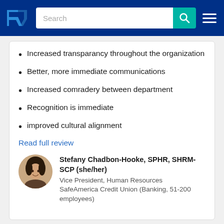TrustRadius — Search navigation bar
Increased transparancy throughout the organization
Better, more immediate communications
Increased comradery between department
Recognition is immediate
improved cultural alignment
Read full review
Stefany Chadbon-Hooke, SPHR, SHRM-SCP (she/her)
Vice President, Human Resources
SafeAmerica Credit Union (Banking, 51-200 employees)